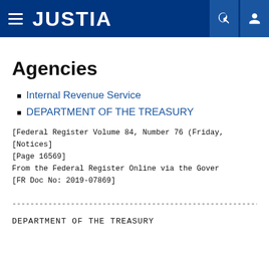JUSTIA
Agencies
Internal Revenue Service
DEPARTMENT OF THE TREASURY
[Federal Register Volume 84, Number 76 (Friday,
[Notices]
[Page 16569]
From the Federal Register Online via the Gover
[FR Doc No: 2019-07869]
-------------------------------------------------------
DEPARTMENT OF THE TREASURY